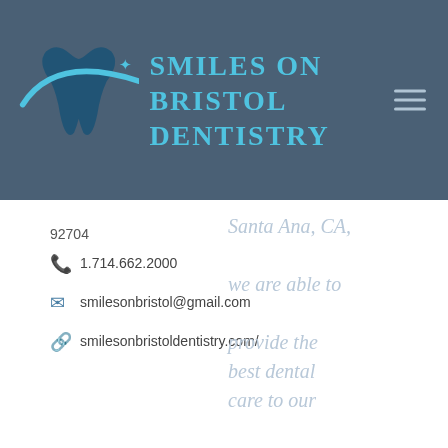[Figure (logo): Smiles on Bristol Dentistry logo with tooth icon and swoosh in blue/teal, company name in uppercase teal letters]
92704
Santa Ana, CA,
1.714.662.2000
smilesonbristol@gmail.com
smilesonbristoldentistry.com/
we are able to provide the best dental care to our patients. We are open Monday - Friday from 9:00 AM - 6:00 PM and on